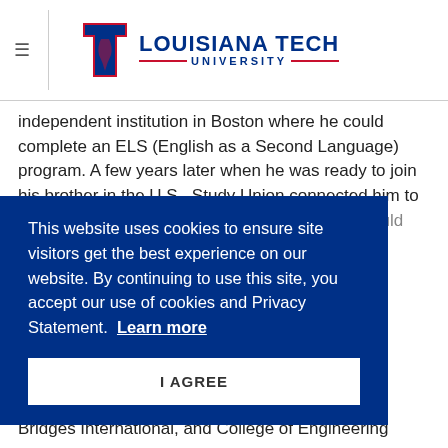Louisiana Tech University
independent institution in Boston where he could complete an ELS (English as a Second Language) program. A few years later when he was ready to join his brother in the U.S., Study Union connected him to the ELS program at Louisiana Tech where he could join a world-famous Electrical Engineering
This website uses cookies to ensure site visitors get the best experience on our website. By continuing to use this site, you accept our use of cookies and Privacy Statement. Learn more
I AGREE
Bridges International, and College of Engineering